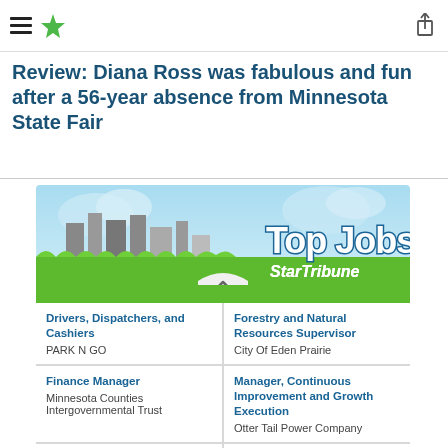Star Tribune mobile header with hamburger menu and star logo
Review: Diana Ross was fabulous and fun after a 56-year absence from Minnesota State Fair
[Figure (infographic): Star Tribune Top Jobs advertisement banner showing city skyline silhouette with grass, featuring job listings grid below]
Drivers, Dispatchers, and Cashiers — PARK N GO
Forestry and Natural Resources Supervisor — City Of Eden Prairie
Finance Manager — Minnesota Counties Intergovernmental Trust
Manager, Continuous Improvement and Growth Execution — Otter Tail Power Company
Polymer Chemist — ENGEBRETSON LAW FIRM, P.A.
Senior Data Analyst — Otter Tail Power